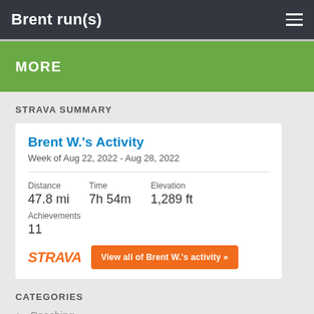Brent run(s)
MORE
STRAVA SUMMARY
Brent W.'s Activity
Week of Aug 22, 2022 - Aug 28, 2022
Distance 47.8 mi   Time 7h 54m   Elevation 1,289 ft   Achievements 11
STRAVA   View all of Brent W.'s activity »
CATEGORIES
Coaching